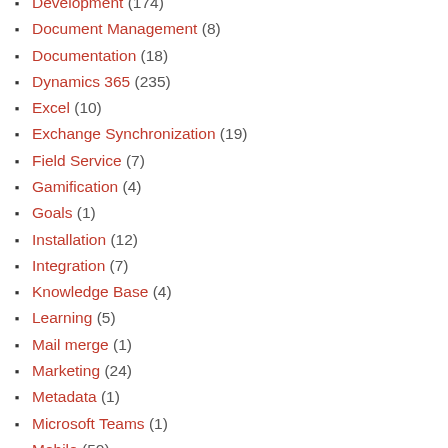Development (174)
Document Management (8)
Documentation (18)
Dynamics 365 (235)
Excel (10)
Exchange Synchronization (19)
Field Service (7)
Gamification (4)
Goals (1)
Installation (12)
Integration (7)
Knowledge Base (4)
Learning (5)
Mail merge (1)
Marketing (24)
Metadata (1)
Microsoft Teams (1)
Mobile (50)
Offline (3)